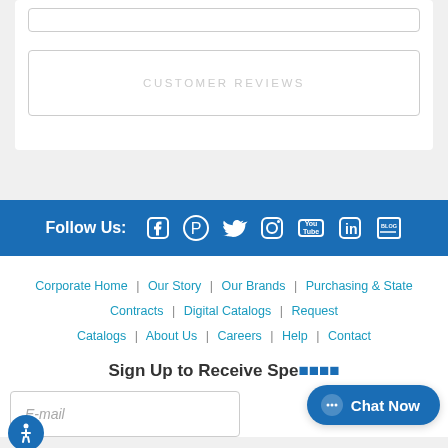CUSTOMER REVIEWS
Follow Us:
Corporate Home | Our Story | Our Brands | Purchasing & State Contracts | Digital Catalogs | Request Catalogs | About Us | Careers | Help | Contact
Sign Up to Receive Spe...
E-mail
Chat Now